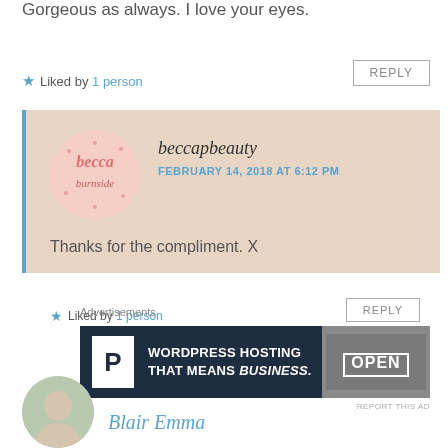Gorgeous as always. I love your eyes.
★ Liked by 1 person
REPLY
beccapbeauty
FEBRUARY 14, 2018 AT 6:12 PM
Thanks for the compliment. X
★ Liked by 1 person
REPLY
[Figure (logo): Circular avatar with Becca Burnside blog logo in pink text on light pink background]
Advertisements
WORDPRESS HOSTING THAT MEANS BUSINESS.
[Figure (screenshot): Advertisement banner: WordPress Hosting That Means Business with OPEN sign image]
REPORT THIS AD
[Figure (photo): Circular avatar photo of Blair Emma, outdoor portrait]
Blair Emma